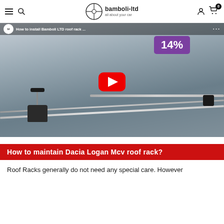bamboli-ltd — all about your car
[Figure (screenshot): YouTube video thumbnail showing installation of Bamboli-Ltd roof rack on a car, with a 14% badge and a YouTube play button overlay. Channel name: bamboli-ltd. Title: How to install Bamboli LTD roof rack ...]
How to maintain Dacia Logan Mcv roof rack?
Roof Racks generally do not need any special care. However